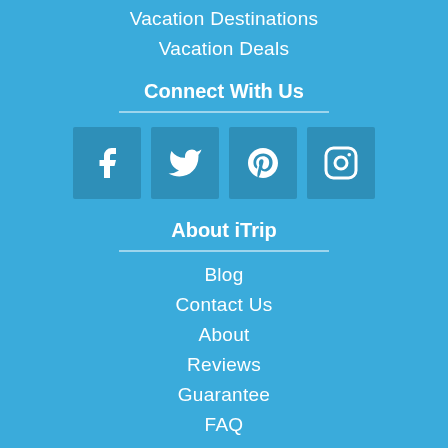Vacation Destinations
Vacation Deals
Connect With Us
[Figure (illustration): Social media icons for Facebook, Twitter, Pinterest, and Instagram in teal square boxes]
About iTrip
Blog
Contact Us
About
Reviews
Guarantee
FAQ
Property Management
List Your Property